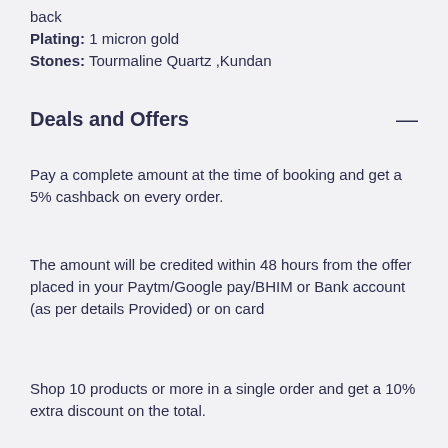back
Plating: 1 micron gold
Stones: Tourmaline Quartz ,Kundan
Deals and Offers
Pay a complete amount at the time of booking and get a 5% cashback on every order.
The amount will be credited within 48 hours from the offer placed in your Paytm/Google pay/BHIM or Bank account (as per details Provided) or on card
Shop 10 products or more in a single order and get a 10% extra discount on the total.